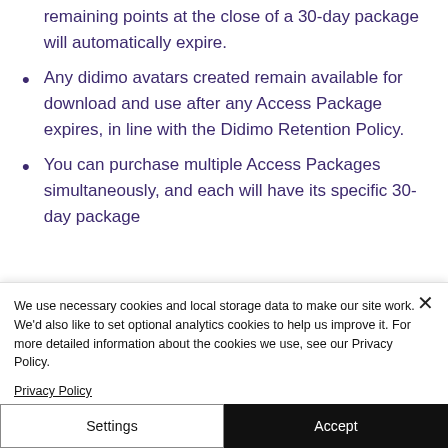remaining points at the close of a 30-day package will automatically expire.
Any didimo avatars created remain available for download and use after any Access Package expires, in line with the Didimo Retention Policy.
You can purchase multiple Access Packages simultaneously, and each will have its specific 30-day package
We use necessary cookies and local storage data to make our site work. We'd also like to set optional analytics cookies to help us improve it. For more detailed information about the cookies we use, see our Privacy Policy.
Privacy Policy